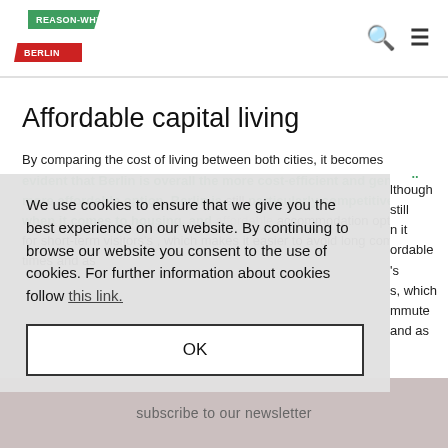REASON-WHY BERLIN
Affordable capital living
By comparing the cost of living between both cities, it becomes evident that Berlin is overall the more cost-efficient and generally more affordable option. Berlin is still particularly competitive when it comes to housing, and affordable accommodation options for short-term visitors's, which makes it easier to avoid long commute times and as
We use cookies to ensure that we give you the best experience on our website. By continuing to browse our website you consent to the use of cookies. For further information about cookies follow this link.
OK